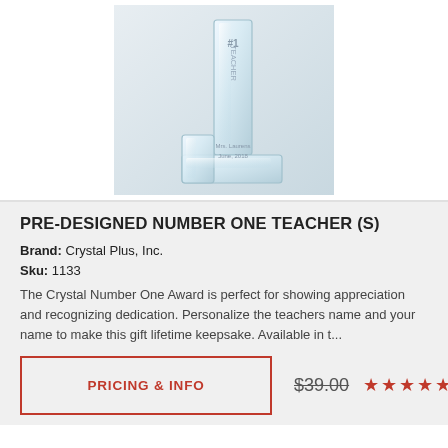[Figure (photo): Crystal #1 Teacher award trophy, transparent crystal shaped as number one with '#1 TEACHER' engraved vertically and 'Mrs. Laurens, June, 2018' inscribed at the base]
PRE-DESIGNED NUMBER ONE TEACHER (S)
Brand: Crystal Plus, Inc.
Sku: 1133
The Crystal Number One Award is perfect for showing appreciation and recognizing dedication. Personalize the teachers name and your name to make this gift lifetime keepsake. Available in t...
PRICING & INFO
$39.00
★★★★★